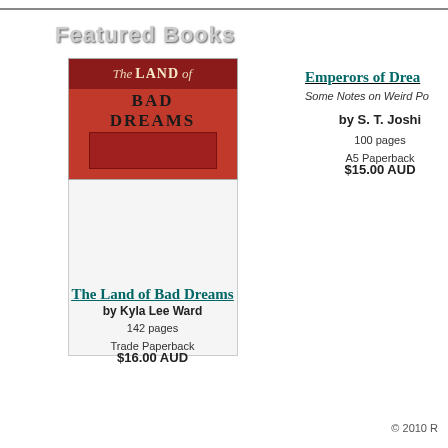Featured Books
[Figure (illustration): Book cover for 'The Land of Bad Dreams' with red background and stylized title text]
The Land of Bad Dreams
by Kyla Lee Ward
142 pages
Trade Paperback
$16.00 AUD
Emperors of Drea...
Some Notes on Weird Po...
by S. T. Joshi
100 pages
A5 Paperback
$15.00 AUD
© 2010 R